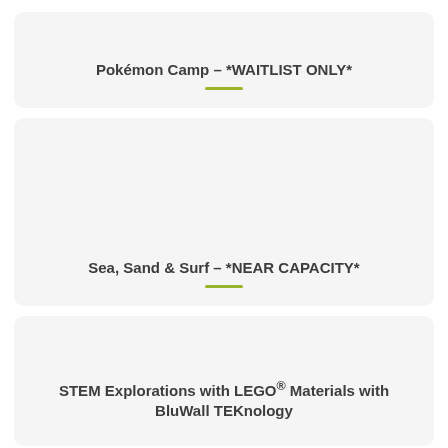Pokémon Camp – *WAITLIST ONLY*
Sea, Sand & Surf – *NEAR CAPACITY*
STEM Explorations with LEGO® Materials with BluWall TEKnology